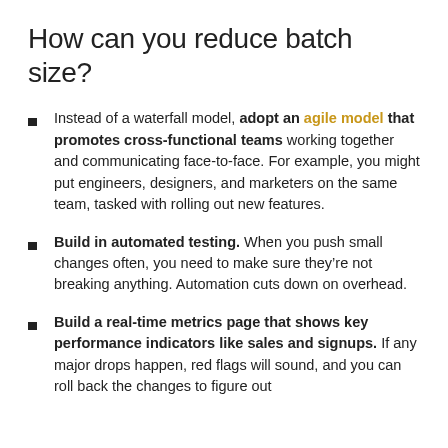How can you reduce batch size?
Instead of a waterfall model, adopt an agile model that promotes cross-functional teams working together and communicating face-to-face. For example, you might put engineers, designers, and marketers on the same team, tasked with rolling out new features.
Build in automated testing. When you push small changes often, you need to make sure they’re not breaking anything. Automation cuts down on overhead.
Build a real-time metrics page that shows key performance indicators like sales and signups. If any major drops happen, red flags will sound, and you can roll back the changes to figure out